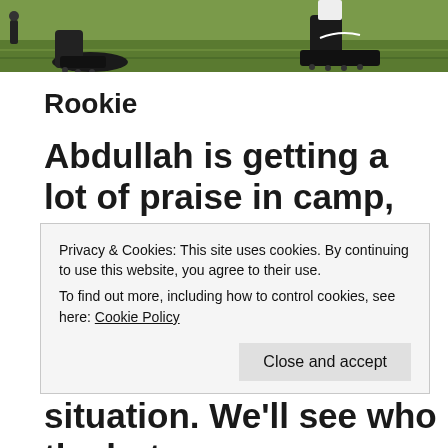[Figure (photo): Sports photo showing athlete legs/feet with cleats on a grass field]
Rookie
Abdullah is getting a lot of praise in camp, but is also in the mix with Joique Bell and Theo Riddick. He’s probably the most
Privacy & Cookies: This site uses cookies. By continuing to use this website, you agree to their use.
To find out more, including how to control cookies, see here: Cookie Policy
Close and accept
situation. We’ll see who the hot